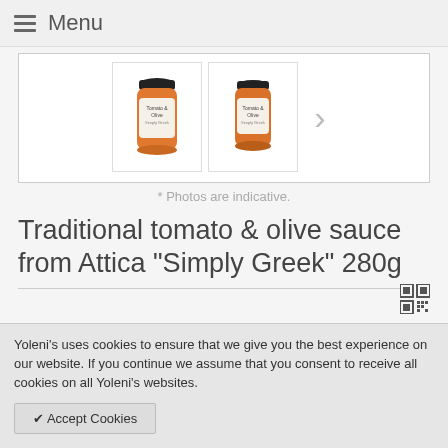Menu
[Figure (photo): Two jars of tomato and olive sauce product shown as thumbnails in a gallery with a right arrow for navigation]
* Photos are indicative.
Traditional tomato & olive sauce from Attica "Simply Greek" 280g
Yoleni's uses cookies to ensure that we give you the best experience on our website. If you continue we assume that you consent to receive all cookies on all Yoleni's websites.
✔ Accept Cookies